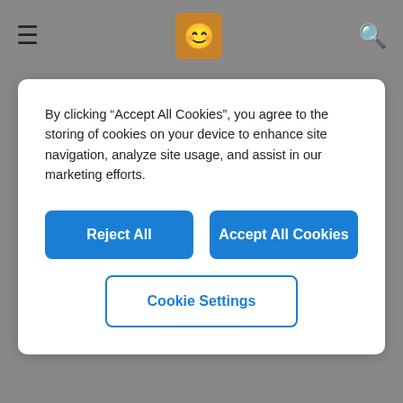[Figure (screenshot): Navigation bar with hamburger menu icon, emoji dictionary logo, and search icon on gray background]
By clicking "Accept All Cookies", you agree to the storing of cookies on your device to enhance site navigation, analyze site usage, and assist in our marketing efforts.
Reject All
Accept All Cookies
Cookie Settings
🟫🟫🟫 Woman: Dark Skin Tone, Red Hair
Emoji Meaning
The Woman: Dark Skin Tone, Red Hair emoji is a ZWJ sequence combining 👩 Woman, 🏿 Dark Skin Tone, Zero Width Joiner and 🦰 Red Hair. These display as a single emoji on supported platforms.